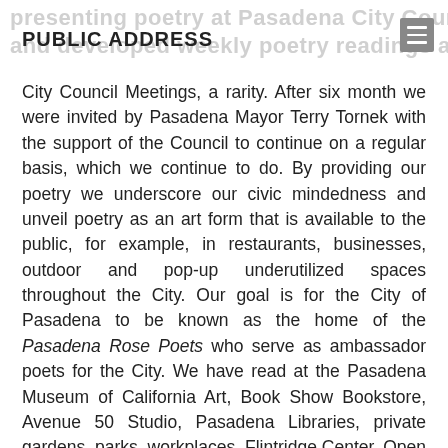PUBLIC ADDRESS
City Council Meetings, a rarity. After six month we were invited by Pasadena Mayor Terry Tornek with the support of the Council to continue on a regular basis, which we continue to do. By providing our poetry we underscore our civic mindedness and unveil poetry as an art form that is available to the public, for example, in restaurants, businesses, outdoor and pop-up underutilized spaces throughout the City. Our goal is for the City of Pasadena to be known as the home of the Pasadena Rose Poets who serve as ambassador poets for the City. We have read at the Pasadena Museum of California Art, Book Show Bookstore, Avenue 50 Studio, Pasadena Libraries, private gardens, parks, workplaces, Flintridge Center, Open Studio Art Collective, Altadena Library District and John Muir High School.